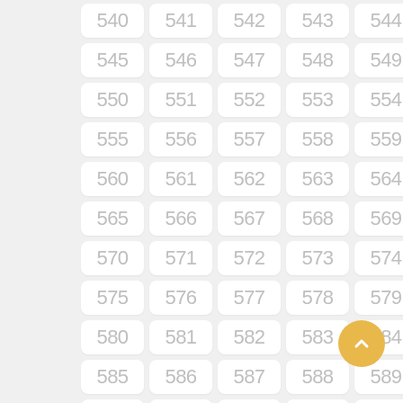[Figure (other): Grid of numbered cells from 540 to 594, arranged in 11 rows of 5 columns. Each number is displayed in a light gray rounded rectangle. A golden yellow circular button with an upward chevron arrow is shown in the bottom-right corner.]